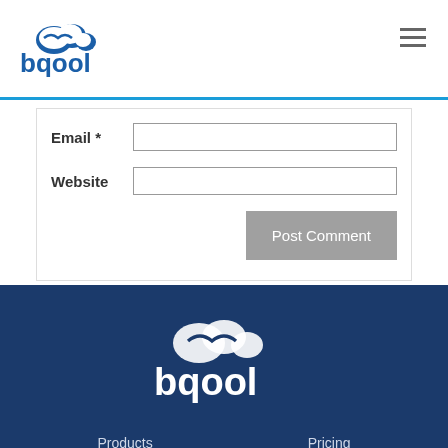bqool logo and navigation
Email *
Website
Post Comment
[Figure (logo): BQool logo in white on dark blue footer background]
Products
Pricing